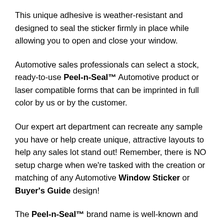This unique adhesive is weather-resistant and designed to seal the sticker firmly in place while allowing you to open and close your window.
Automotive sales professionals can select a stock, ready-to-use Peel-n-Seal™ Automotive product or laser compatible forms that can be imprinted in full color by us or by the customer.
Our expert art department can recreate any sample you have or help create unique, attractive layouts to help any sales lot stand out! Remember, there is NO setup charge when we're tasked with the creation or matching of any Automotive Window Sticker or Buyer's Guide design!
The Peel-n-Seal™ brand name is well-known and exclusively